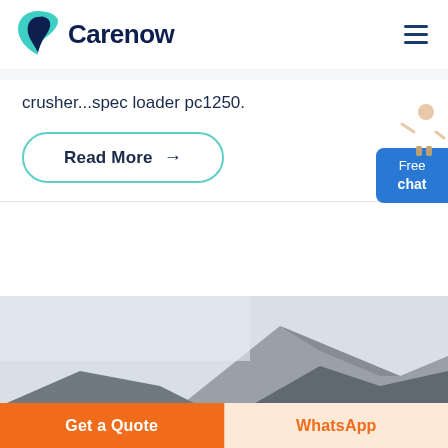[Figure (logo): Carenow logo with teal/dark blue leaf icon and brand name]
crusher...spec loader pc1250.
Read More →
[Figure (photo): Mountain landscape with rocky terrain and overcast sky]
Get a Quote
WhatsApp